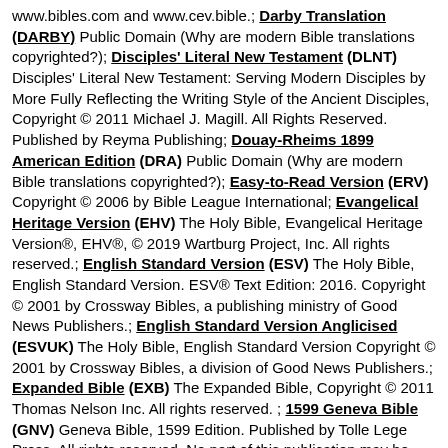www.bibles.com and www.cev.bible.; Darby Translation (DARBY) Public Domain (Why are modern Bible translations copyrighted?); Disciples' Literal New Testament (DLNT) Disciples' Literal New Testament: Serving Modern Disciples by More Fully Reflecting the Writing Style of the Ancient Disciples, Copyright © 2011 Michael J. Magill. All Rights Reserved. Published by Reyma Publishing; Douay-Rheims 1899 American Edition (DRA) Public Domain (Why are modern Bible translations copyrighted?); Easy-to-Read Version (ERV) Copyright © 2006 by Bible League International; Evangelical Heritage Version (EHV) The Holy Bible, Evangelical Heritage Version®, EHV®, © 2019 Wartburg Project, Inc. All rights reserved.; English Standard Version (ESV) The Holy Bible, English Standard Version. ESV® Text Edition: 2016. Copyright © 2001 by Crossway Bibles, a publishing ministry of Good News Publishers.; English Standard Version Anglicised (ESVUK) The Holy Bible, English Standard Version Copyright © 2001 by Crossway Bibles, a division of Good News Publishers.; Expanded Bible (EXB) The Expanded Bible, Copyright © 2011 Thomas Nelson Inc. All rights reserved. ; 1599 Geneva Bible (GNV) Geneva Bible, 1599 Edition. Published by Tolle Lege Press. All rights reserved. No part of this publication may be reproduced or transmitted in